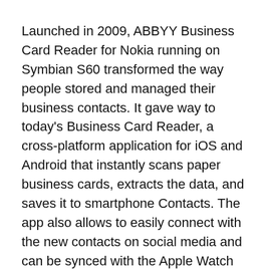Launched in 2009, ABBYY Business Card Reader for Nokia running on Symbian S60 transformed the way people stored and managed their business contacts. It gave way to today's Business Card Reader, a cross-platform application for iOS and Android that instantly scans paper business cards, extracts the data, and saves it to smartphone Contacts. The app also allows to easily connect with the new contacts on social media and can be synced with the Apple Watch app and the web client. For simplifying business networking, ABBYY Business Card Reader has been featured by The New York Times, The Telegraph, and CNN.
ABBYY FineScanner has been helping users digitize, edit and share documents on mobile since 2012. The app for Android and iOS instantly captures documents and books creating digital copies and applies text recognition to convert the text suitable for output like PDF, DOCX and...